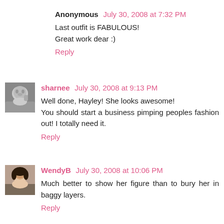Anonymous July 30, 2008 at 7:32 PM — Last outfit is FABULOUS! Great work dear :) — Reply
[Figure (photo): Black and white avatar photo of sharnee]
sharnee July 30, 2008 at 9:13 PM — Well done, Hayley! She looks awesome! You should start a business pimping peoples fashion out! I totally need it. — Reply
[Figure (photo): Color avatar photo of WendyB]
WendyB July 30, 2008 at 10:06 PM — Much better to show her figure than to bury her in baggy layers. — Reply